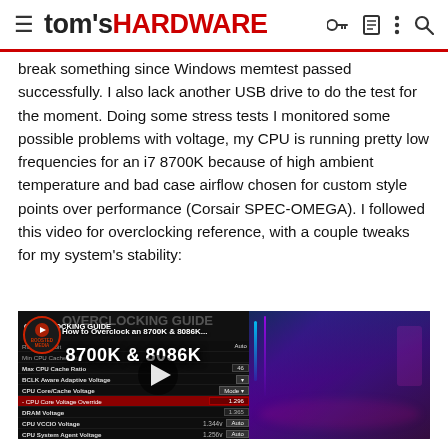tom's HARDWARE
break something since Windows memtest passed successfully. I also lack another USB drive to do the test for the moment. Doing some stress tests I monitored some possible problems with voltage, my CPU is running pretty low frequencies for an i7 8700K because of high ambient temperature and bad case airflow chosen for custom style points over performance (Corsair SPEC-OMEGA). I followed this video for overclocking reference, with a couple tweaks for my system's stability:
[Figure (screenshot): YouTube video thumbnail showing 'How to Overclock an 8700K & 8086K...' with BIOS settings visible on the left side and a glowing gaming PC on the right. A play button overlay is in the center.]